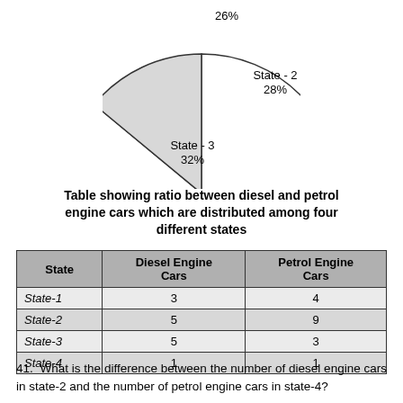[Figure (pie-chart): Distribution among four states]
Table showing ratio between diesel and petrol engine cars which are distributed among four different states
| State | Diesel Engine Cars | Petrol Engine Cars |
| --- | --- | --- |
| State-1 | 3 | 4 |
| State-2 | 5 | 9 |
| State-3 | 5 | 3 |
| State-4 | 1 | 1 |
41. What is the difference between the number of diesel engine cars in state-2 and the number of petrol engine cars in state-4?